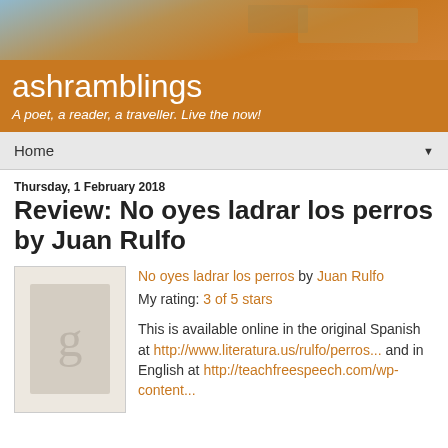[Figure (photo): Blog header background image showing a sandy/desert landscape with a building or fortress, with orange and blue sky tones]
ashramblings
A poet, a reader, a traveller. Live the now!
Home ▼
Thursday, 1 February 2018
Review: No oyes ladrar los perros by Juan Rulfo
No oyes ladrar los perros by Juan Rulfo
My rating: 3 of 5 stars

This is available online in the original Spanish at http://www.literatura.us/rulfo/perros... and in English at http://teachfreespeech.com/wp-content...